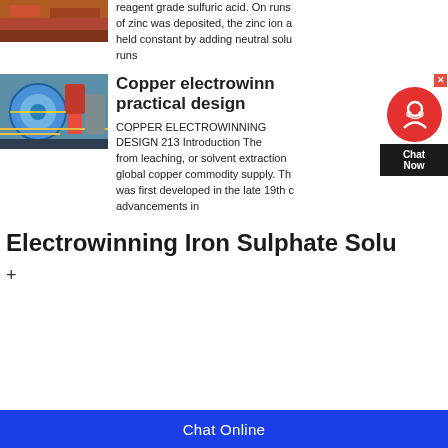[Figure (photo): Partial view of a truck, cropped at top of page]
reagent grade sulfuric acid. On runs of zinc was deposited, the zinc ion a held constant by adding neutral solu runs
[Figure (photo): Industrial machinery with blue coils, wires, and red components — copper electrowinning equipment]
Copper electrowinning practical design
COPPER ELECTROWINNING DESIGN 213 Introduction The from leaching, or solvent extraction global copper commodity supply. Th was first developed in the late 19th c advancements in
[Figure (other): Chat widget overlay with close button, circular headset icon on red background, and Chat Now label on dark background]
Electrowinning Iron Sulphate Solu
+
Chat Online